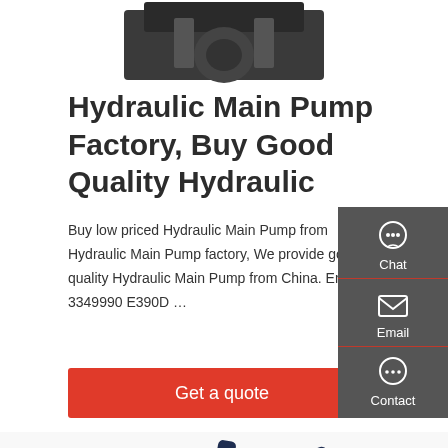[Figure (photo): Partial top view of a dark-colored hydraulic pump product, cropped at the top of the page]
Hydraulic Main Pump Factory, Buy Good Quality Hydraulic
Buy low priced Hydraulic Main Pump from Hydraulic Main Pump factory, We provide good quality Hydraulic Main Pump from China. English 3349990 E390D …
[Figure (other): Red 'Get a quote' button]
[Figure (other): Dark grey side panel with Chat, Email, and Contact icons]
[Figure (photo): Hyundai excavator partial image at bottom of page, dark blue machine with yellow accents]